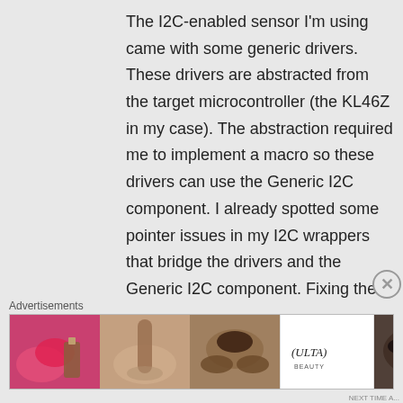The I2C-enabled sensor I'm using came with some generic drivers. These drivers are abstracted from the target microcontroller (the KL46Z in my case). The abstraction required me to implement a macro so these drivers can use the Generic I2C component. I already spotted some pointer issues in my I2C wrappers that bridge the drivers and the Generic I2C component. Fixing these problems I spotted will let me know whether this is the sole
Advertisements
[Figure (photo): Advertisement banner showing cosmetics/beauty products with ULTA logo and SHOP NOW call to action]